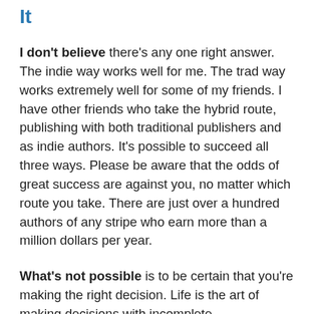Make A Decision And Run With It
I don't believe there's any one right answer. The indie way works well for me. The trad way works extremely well for some of my friends. I have other friends who take the hybrid route, publishing with both traditional publishers and as indie authors. It's possible to succeed all three ways. Please be aware that the odds of great success are against you, no matter which route you take. There are just over a hundred authors of any stripe who earn more than a million dollars per year.
What's not possible is to be certain that you're making the right decision. Life is the art of making decisions with incomplete